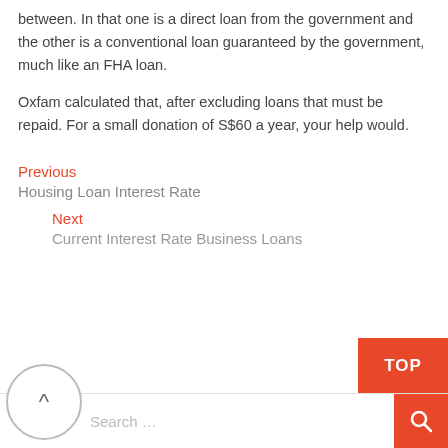between. In that one is a direct loan from the government and the other is a conventional loan guaranteed by the government, much like an FHA loan.
Oxfam calculated that, after excluding loans that must be repaid. For a small donation of S$60 a year, your help would.
Previous
Housing Loan Interest Rate
Next
Current Interest Rate Business Loans
[Figure (other): Back arrow circle button and TOP red button and search bar at the bottom of the page]